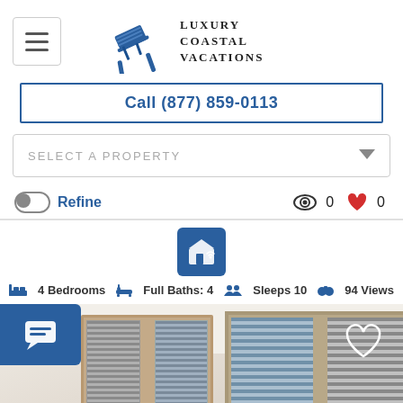[Figure (logo): Luxury Coastal Vacations logo with beach chair icon and text]
Call (877) 859-0113
SELECT A PROPERTY
Refine  0  0
4 Bedrooms  Full Baths: 4  Sleeps 10  94 Views
[Figure (photo): Interior room photo showing windows with wooden frames and horizontal blinds]